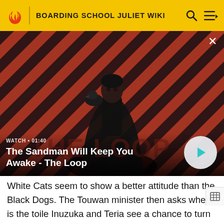BOARDING SCHOOL JULIET WIKI
[Figure (screenshot): Video thumbnail showing a dark figure (man in black cloak with a crow on shoulder) against a diagonal red and black striped background. The video is titled 'The Sandman Will Keep You Awake - The Loop' with duration 01:40. A teal play button is overlaid at bottom right.]
White Cats seem to show a better attitude than the Black Dogs. The Touwan minister then asks where is the toile Inuzuka and Teria see a chance to turn the tables. Inuzu carried the minister and rushed towards the toilet. But they accidentally bring him to the ladies' toilet since Inuzuka was running so fast. The minister crashes, and his